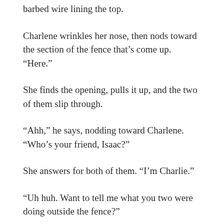barbed wire lining the top.
Charlene wrinkles her nose, then nods toward the section of the fence that's come up. “Here.”
She finds the opening, pulls it up, and the two of them slip through.
“Ahh,” he says, nodding toward Charlene. “Who’s your friend, Isaac?”
She answers for both of them. “I’m Charlie.”
“Uh huh. Want to tell me what you two were doing outside the fence?”
She holds his gaze in return. “I wasn’t sure…